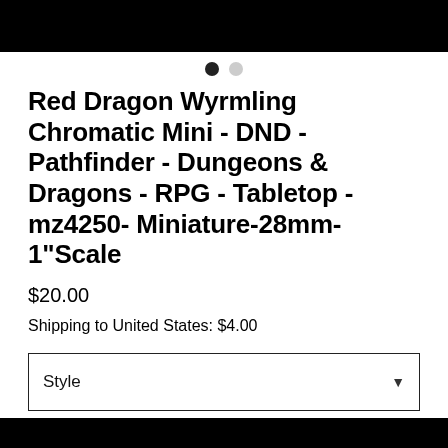[Figure (screenshot): Black top bar (image carousel area)]
• •
Red Dragon Wyrmling Chromatic Mini - DND - Pathfinder - Dungeons & Dragons - RPG - Tabletop - mz4250- Miniature-28mm-1"Scale
$20.00
Shipping to United States: $4.00
Style
Quantity